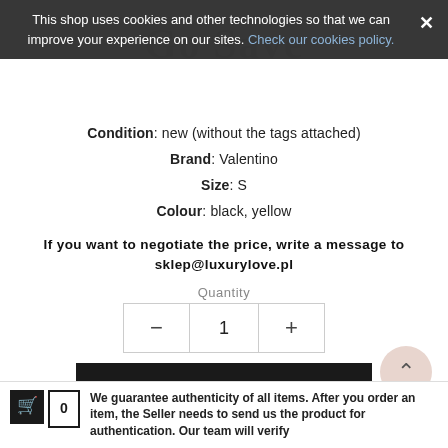This shop uses cookies and other technologies so that we can improve your experience on our sites. Check our cookies policy. ✕
Tax included
Condition: new (without the tags attached)
Brand: Valentino
Size: S
Colour: black, yellow
If you want to negotiate the price, write a message to sklep@luxurylove.pl
Quantity
1
ADD TO CART
Add to Wishlist
Add to Compare
We guarantee authenticity of all items. After you order an item, the Seller needs to send us the product for authentication. Our team will verify